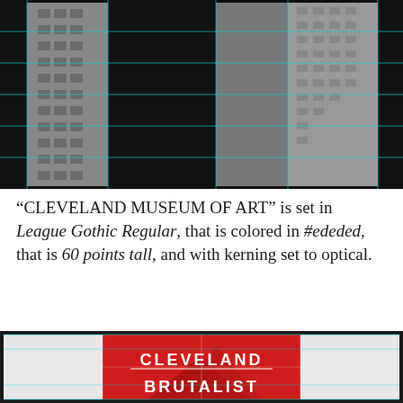[Figure (photo): Black and white close-up photograph of a brutalist concrete building facade with grid overlay lines in cyan/teal]
“CLEVELAND MUSEUM OF ART” is set in League Gothic Regular, that is colored in #ededed, that is 60 points tall, and with kerning set to optical.
[Figure (infographic): Design layout showing a red square with the text CLEVELAND and BRUTALIST in white, overlaid on a brutalist building image with cyan grid lines]